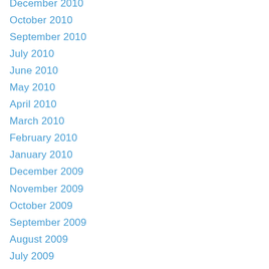December 2010
October 2010
September 2010
July 2010
June 2010
May 2010
April 2010
March 2010
February 2010
January 2010
December 2009
November 2009
October 2009
September 2009
August 2009
July 2009
June 2009
May 2009
April 2009
March 2009